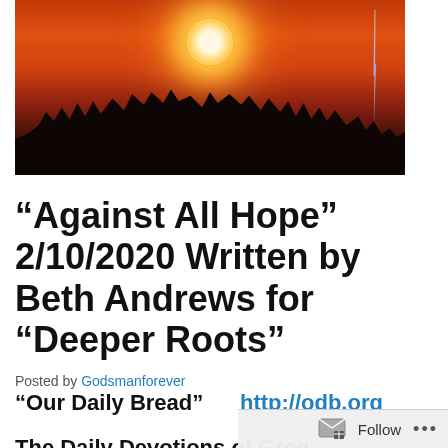[Figure (photo): Dramatic sunset/storm sky with orange-red glow, silhouetted trees and hills, bright sun orb and lightning bolt visible]
“Against All Hope” 2/10/2020 Written by Beth Andrews for “Deeper Roots”
Posted by Godsmanforever
“Our Daily Bread”    http://odb.org
The Daily Devotions of Greg
Laurie   http://www.harvest.org/devotions